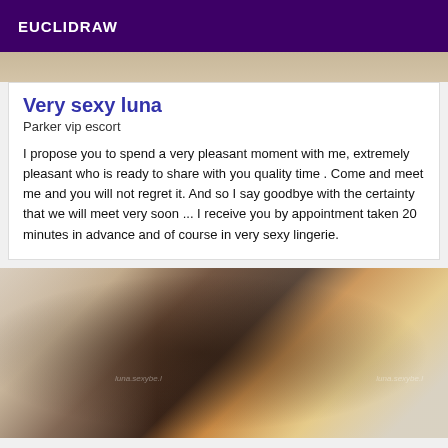EUCLIDRAW
[Figure (photo): Top portion of a profile photo, cropped, showing a room background]
Very sexy luna
Parker vip escort
I propose you to spend a very pleasant moment with me, extremely pleasant who is ready to share with you quality time . Come and meet me and you will not regret it. And so I say goodbye with the certainty that we will meet very soon ... I receive you by appointment taken 20 minutes in advance and of course in very sexy lingerie.
[Figure (photo): Photo of a dark-skinned woman in a yellow bikini posing on a couch indoors with white curtain background]